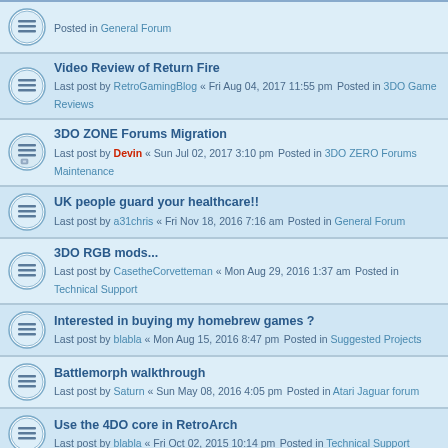Posted in General Forum
Video Review of Return Fire
Last post by RetroGamingBlog « Fri Aug 04, 2017 11:55 pm
Posted in 3DO Game Reviews
3DO ZONE Forums Migration
Last post by Devin « Sun Jul 02, 2017 3:10 pm
Posted in 3DO ZERO Forums Maintenance
UK people guard your healthcare!!
Last post by a31chris « Fri Nov 18, 2016 7:16 am
Posted in General Forum
3DO RGB mods...
Last post by CasetheCorvetteman « Mon Aug 29, 2016 1:37 am
Posted in Technical Support
Interested in buying my homebrew games ?
Last post by blabla « Mon Aug 15, 2016 8:47 pm
Posted in Suggested Projects
Battlemorph walkthrough
Last post by Saturn « Sun May 08, 2016 4:05 pm
Posted in Atari Jaguar forum
Use the 4DO core in RetroArch
Last post by blabla « Fri Oct 02, 2015 10:14 pm
Posted in Technical Support
Painter CD - Encrypted
Last post by Saturn « Tue Sep 29, 2015 8:29 pm
Posted in Atari Jaguar forum
Amnesia: The Dark Descent
Last post by a31chris « Wed Sep 16, 2015 3:25 am
Posted in General Forum
Latest Windows 32bit JagRISC vasm/vlink builds(gasm/devpak)